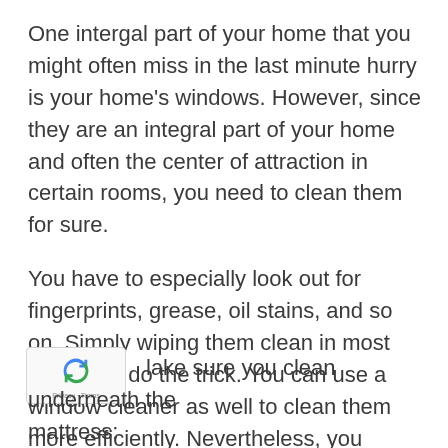One intergal part of your home that you might often miss in the last minute hurry is your home's windows. However, since they are an integral part of your home and often the center of attraction in certain rooms, you need to clean them for sure.
You have to especially look out for fingerprints, grease, oil stains, and so on. Simply wiping them clean in most cases will do the trick. You can use a window cleaner as well to clean them more efficiently. Nevertheless, you should not leave them out just because you're in a hurry.
Make sure you clean underneath the mattress: